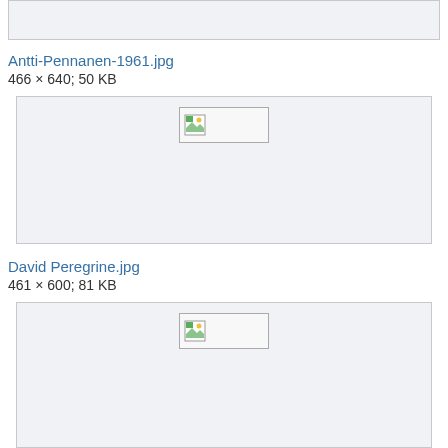[Figure (other): Truncated image placeholder box at top of page]
Antti-Pennanen-1961.jpg
466 × 640; 50 KB
[Figure (other): Broken image placeholder box for Antti-Pennanen-1961.jpg]
David Peregrine.jpg
461 × 600; 81 KB
[Figure (other): Broken image placeholder box for David Peregrine.jpg (partially visible)]